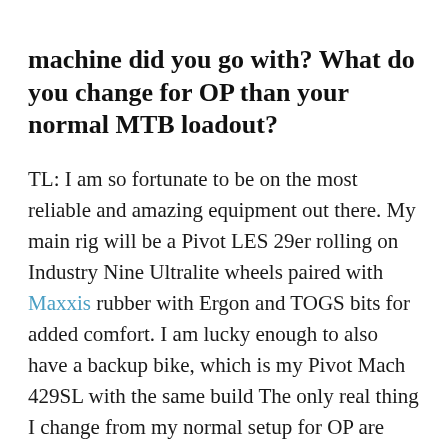machine did you go with? What do you change for OP than your normal MTB loadout?
TL: I am so fortunate to be on the most reliable and amazing equipment out there. My main rig will be a Pivot LES 29er rolling on Industry Nine Ultralite wheels paired with Maxxis rubber with Ergon and TOGS bits for added comfort. I am lucky enough to also have a backup bike, which is my Pivot Mach 429SL with the same build The only real thing I change from my normal setup for OP are tyres – I swap out the rear tire for the Maxxis Tread Lite. It's a fast course and I like to try and get all the rolling benefits I possibly can. I truly love my bike setup for this race and I can be